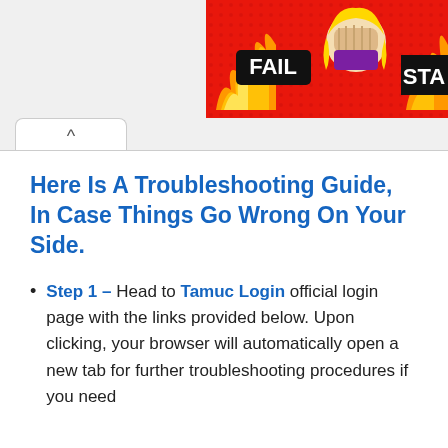[Figure (illustration): Advertisement banner showing a cartoon woman facepalming with flames and the word FAIL in bold, red background]
Here Is A Troubleshooting Guide, In Case Things Go Wrong On Your Side.
Step 1 – Head to Tamuc Login official login page with the links provided below. Upon clicking, your browser will automatically open a new tab for further troubleshooting procedures if you need